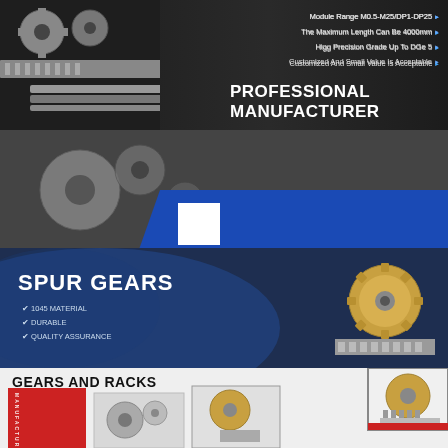Module Range M0.5-M25/DP1-DP25 ►
The Maximum Length Can Be 4000mm ►
Higg Precision Grade Up To DGe 5 ►
Customized And Small Value Is Acceptable ►
[Figure (photo): Metal gears, spur gears and rack and pinion components on dark background]
PROFESSIONAL MANUFACTURER
[Figure (photo): Industrial machinery with blue lighting, mechanical components]
SPUR GEARS
✔ 1045 MATERIAL
✔ DURABLE
✔ QUALITY ASSURANCE
[Figure (photo): Spur gear and rack components, steel colored]
GEARS AND RACKS
[Figure (photo): Multiple gear and rack product images]